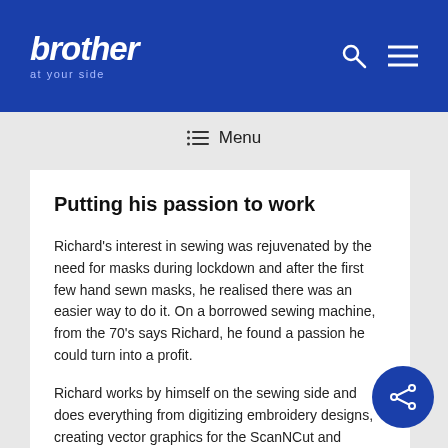brother at your side
Menu
Putting his passion to work
Richard's interest in sewing was rejuvenated by the need for masks during lockdown and after the first few hand sewn masks, he realised there was an easier way to do it. On a borrowed sewing machine, from the 70's says Richard, he found a passion he could turn into a profit.
Richard works by himself on the sewing side and does everything from digitizing embroidery designs, creating vector graphics for the ScanNCut and sewing to printing fabric, cutting patterns and vinyl applications. And no, this isn't just a story about sewing.